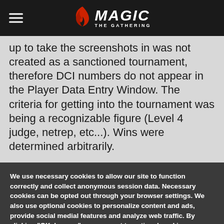MAGIC THE GATHERING
up to take the screenshots in was not created as a sanctioned tournament, therefore DCI numbers do not appear in the Player Data Entry Window. The criteria for getting into the tournament was being a recognizable figure (Level 4 judge, netrep, etc...). Wins were determined arbitrarily.
We use necessary cookies to allow our site to function correctly and collect anonymous session data. Necessary cookies can be opted out through your browser settings. We also use optional cookies to personalize content and ads, provide social medial features and analyze web traffic. By clicking “OK, I agree,” you consent to optional cookies.
(Learn more about cookies.)
OK, I agree   No, thanks